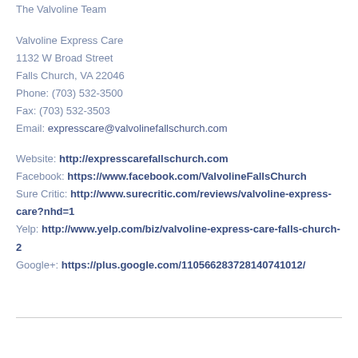The Valvoline Team
Valvoline Express Care
1132 W Broad Street
Falls Church, VA 22046
Phone: (703) 532-3500
Fax: (703) 532-3503
Email: expresscare@valvolinefallschurch.com
Website: http://expresscarefallschurch.com
Facebook: https://www.facebook.com/ValvolineFallsChurch
Sure Critic: http://www.surecritic.com/reviews/valvoline-express-care?nhd=1
Yelp: http://www.yelp.com/biz/valvoline-express-care-falls-church-2
Google+: https://plus.google.com/110566283728140741012/